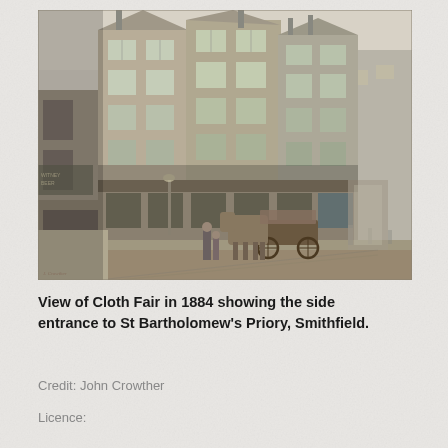[Figure (illustration): Watercolour painting showing a street view of Cloth Fair in 1884. The scene depicts multi-storey Victorian/Georgian buildings with large sash windows lining the street. A horse-drawn cart is visible in the middle of the street, along with a few figures. The side entrance to St Bartholomew's Priory, Smithfield is visible. Painted by John Crowther.]
View of Cloth Fair in 1884 showing the side entrance to St Bartholomew's Priory, Smithfield.
Credit: John Crowther
Licence: